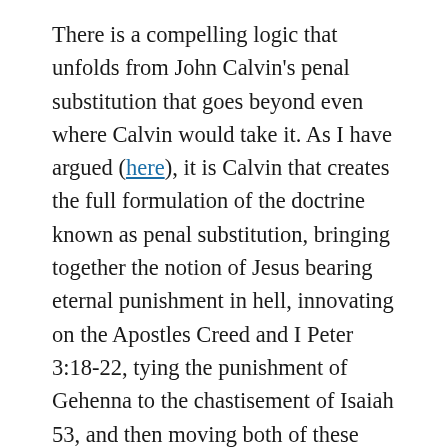There is a compelling logic that unfolds from John Calvin's penal substitution that goes beyond even where Calvin would take it. As I have argued (here), it is Calvin that creates the full formulation of the doctrine known as penal substitution, bringing together the notion of Jesus bearing eternal punishment in hell, innovating on the Apostles Creed and I Peter 3:18-22, tying the punishment of Gehenna to the chastisement of Isaiah 53, and then moving both of these passages to the context of the trial and punishment of Jesus. Calvin may not have felt the full weight or compelling nature of his innovation, as he will continue to provide orthodox readings of passages such as Psalm 22, quoted by Jesus on the cross and